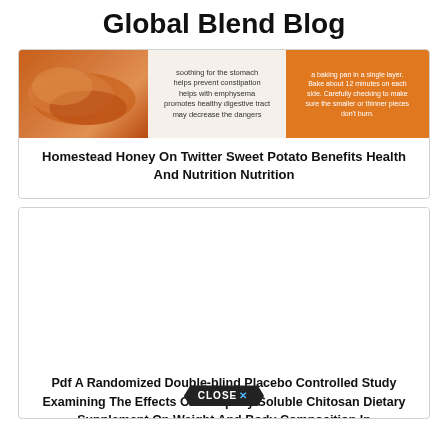Global Blend Blog
[Figure (photo): Composite image showing sweet potatoes on the left, text about health benefits in the center, and orange background with baking instructions on the right]
Homestead Honey On Twitter Sweet Potato Benefits Health And Nutrition Nutrition
[Figure (photo): Blank white image placeholder area for second blog post]
Pdf A Randomized Double-blind Placebo Controlled Study Examining The Effects Of A Rapidly Soluble Chitosan Dietary Supplement On Weight And Body Composition In
[Figure (other): Close X button overlay in dark hexagon/arrow shape with blue X mark]